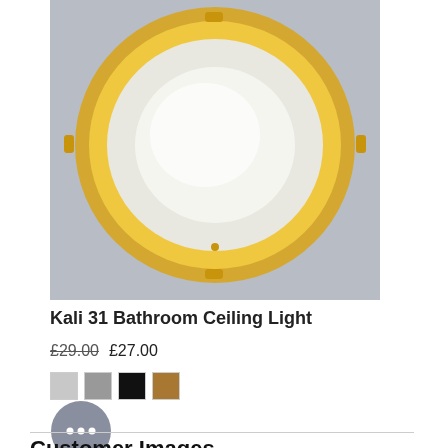[Figure (photo): Kali 31 Bathroom Ceiling Light product photo — round gold-rimmed flush ceiling light with frosted glass center, photographed against a grey background]
Kali 31 Bathroom Ceiling Light
£29.00  £27.00
[Figure (other): Four colour swatches: light silver, dark silver, black, gold]
[Figure (other): Chat button icon — grey circle with three dots (ellipsis) indicating a chat widget]
Customer Images